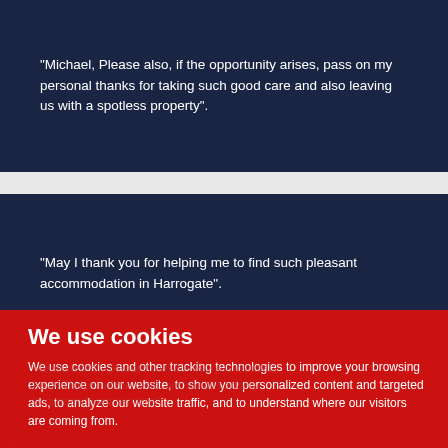"Michael, Please also, if the opportunity arises, pass on my personal thanks for taking such good care and also leaving us with a spotless property".
"May I thank you for helping me to find such pleasant accommodation in Harrogate".
We use cookies
We use cookies and other tracking technologies to improve your browsing experience on our website, to show you personalized content and targeted ads, to analyze our website traffic, and to understand where our visitors are coming from.